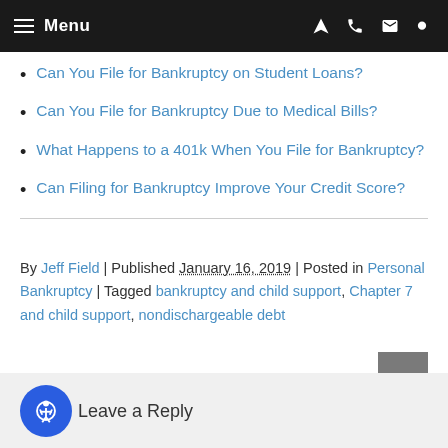Menu
Can You File for Bankruptcy on Student Loans?
Can You File for Bankruptcy Due to Medical Bills?
What Happens to a 401k When You File for Bankruptcy?
Can Filing for Bankruptcy Improve Your Credit Score?
By Jeff Field | Published January 16, 2019 | Posted in Personal Bankruptcy | Tagged bankruptcy and child support, Chapter 7 and child support, nondischargeable debt
Leave a Reply